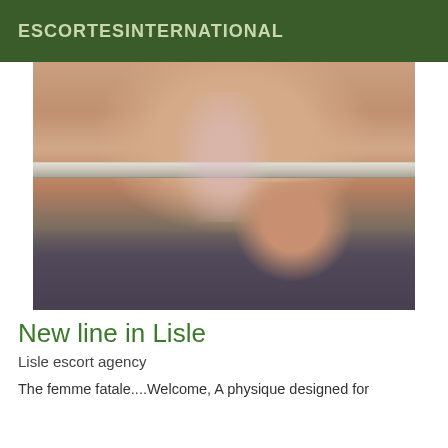ESCORTESINTERNATIONAL
[Figure (photo): Close-up photo of a person wearing pink lace lingerie, sitting on or near a glass/silver table in an indoor setting.]
New line in Lisle
Lisle escort agency
The femme fatale....Welcome, A physique designed for